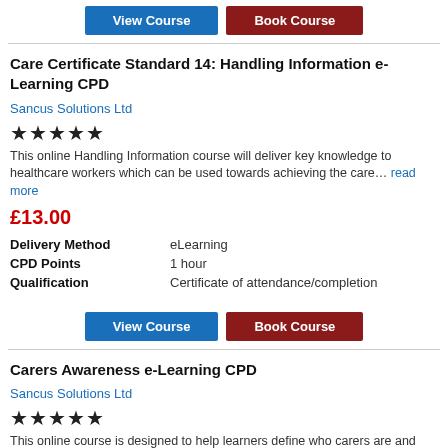[Figure (other): Two buttons: 'View Course' (blue) and 'Book Course' (dark red)]
Care Certificate Standard 14: Handling Information e-Learning CPD
Sancus Solutions Ltd
[Figure (other): Five filled star rating icons]
This online Handling Information course will deliver key knowledge to healthcare workers which can be used towards achieving the care… read more
£13.00
| Delivery Method | eLearning |
| CPD Points | 1 hour |
| Qualification | Certificate of attendance/completion |
[Figure (other): Two buttons: 'View Course' (blue) and 'Book Course' (dark red)]
Carers Awareness e-Learning CPD
Sancus Solutions Ltd
[Figure (other): Five filled star rating icons]
This online course is designed to help learners define who carers are and understand their responsibilities.